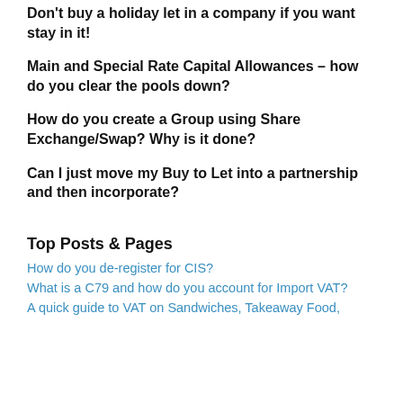Don't buy a holiday let in a company if you want stay in it!
Main and Special Rate Capital Allowances – how do you clear the pools down?
How do you create a Group using Share Exchange/Swap? Why is it done?
Can I just move my Buy to Let into a partnership and then incorporate?
Top Posts & Pages
How do you de-register for CIS?
What is a C79 and how do you account for Import VAT?
A quick guide to VAT on Sandwiches, Takeaway Food,